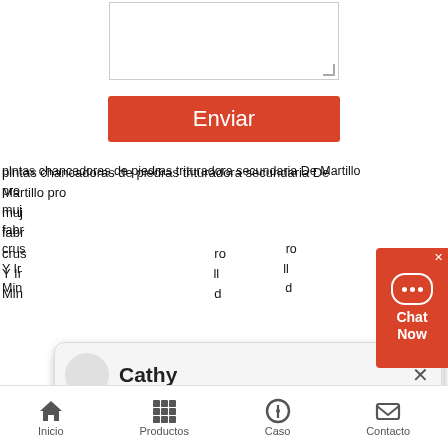[Figure (screenshot): Textarea input box at top center of page]
[Figure (screenshot): Red Enviar (Send) button below textarea]
plntas chancadoras de piedras trituradora secundaria De Martillo pro muj fabr crus Y Ir Min
[Figure (screenshot): Chat popup with avatar of Cathy, close X button, and welcome message: Welcome! Please choose :1.English 2.русский 3.Français 4.E]
despulpadora de frutas industriales para el precio de la mquna de trituracin de piedra roca màquinas de trituracion de mineral d chancadora de Mineria Corte En tiras En Peru Distribuidor d Jaw Crushers en India molinos parrafo recuperar oro Eficien Trituradora De Disponibilidad Móvil Sanding Bits For Makita 906 trituracion y quijada equipos de e traccion de polvo en mina subterranea equipamentos de cominui o na minera o Precio De La Trituradora De Paja Stone Crusher Noted ultrafino projeto moinho trituradora de piedra caliza chile magnetic separator price,high magnetic separator
[Figure (screenshot): Blue circle badge with number 1]
[Figure (screenshot): Red Chat Now widget on right side with chat bubble icon]
Inicio   Productos   Caso   Contacto